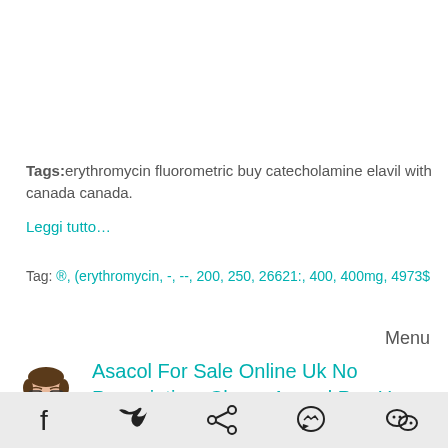Tags:erythromycin fluorometric buy catecholamine elavil with canada canada.
Leggi tutto…
Tag: ®, (erythromycin, -, --, 200, 250, 26621:, 400, 400mg, 4973$
Menu
[Figure (illustration): Avatar of a cartoon person with glasses and glasses, facing forward]
Asacol For Sale Online Uk No Prescription. Cheap Asacol Pay Uss.
Pubblicato da Heather Wade il 20 Dicembre 2016 alle 10:39
[Figure (infographic): Bottom navigation bar with social media icons: Facebook, Twitter, Share, Messenger, WeChat]